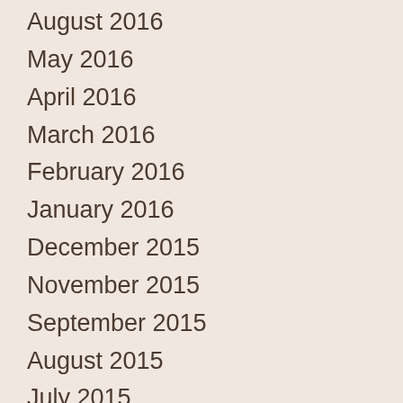August 2016
May 2016
April 2016
March 2016
February 2016
January 2016
December 2015
November 2015
September 2015
August 2015
July 2015
June 2015
May 2015
April 2015
March 2015
February 2015